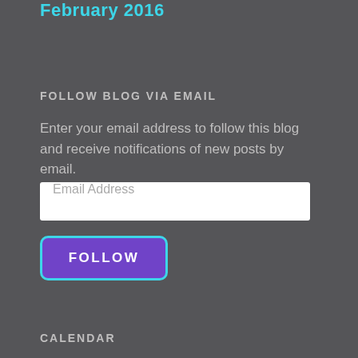February 2016
FOLLOW BLOG VIA EMAIL
Enter your email address to follow this blog and receive notifications of new posts by email.
Email Address
FOLLOW
CALENDAR